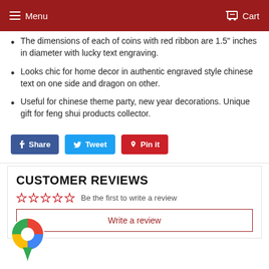Menu   Cart
The dimensions of each of coins with red ribbon are 1.5" inches in diameter with lucky text engraving.
Looks chic for home decor in authentic engraved style chinese text on one side and dragon on other.
Useful for chinese theme party, new year decorations. Unique gift for feng shui products collector.
Share   Tweet   Pin it
CUSTOMER REVIEWS
Be the first to write a review
Write a review